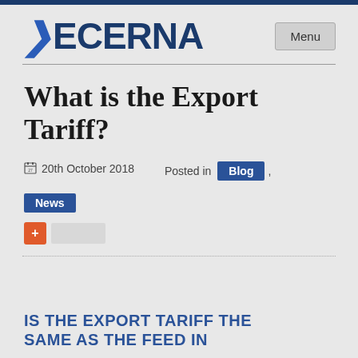DECERNA
What is the Export Tariff?
20th October 2018   Posted in Blog , News
IS THE EXPORT TARIFF THE SAME AS THE FEED IN